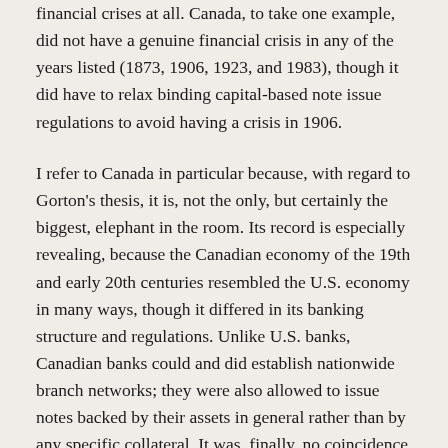financial crises at all. Canada, to take one example, did not have a genuine financial crisis in any of the years listed (1873, 1906, 1923, and 1983), though it did have to relax binding capital-based note issue regulations to avoid having a crisis in 1906.
I refer to Canada in particular because, with regard to Gorton's thesis, it is, not the only, but certainly the biggest, elephant in the room. Its record is especially revealing, because the Canadian economy of the 19th and early 20th centuries resembled the U.S. economy in many ways, though it differed in its banking structure and regulations. Unlike U.S. banks, Canadian banks could and did establish nationwide branch networks; they were also allowed to issue notes backed by their assets in general rather than by any specific collateral. It was, finally, no coincidence that the extra degrees of banking freedom that Canada enjoyed were associated with a much better record of financial stability. To put the matter differently, Canada's record suggests that the shortcomings of the U.S. banking system where not shortcomings "inherent" to all private banking and currency systems. They were shortcomings